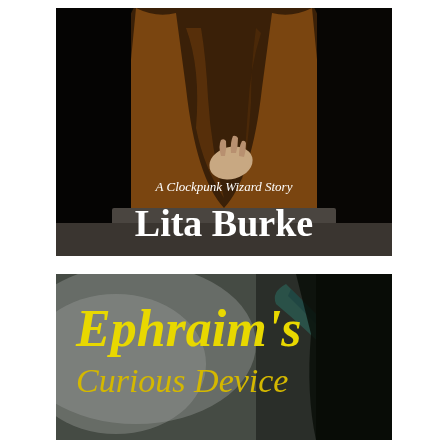[Figure (illustration): Book cover showing a robed figure in brown/amber cloak holding something, dark background, with text 'A Clockpunk Wizard Story' and 'Lita Burke' in white serif font]
[Figure (illustration): Book cover with misty/foggy dark forest background, featuring the title 'Ephraim's Curious Device' in large yellow/gold serif font]